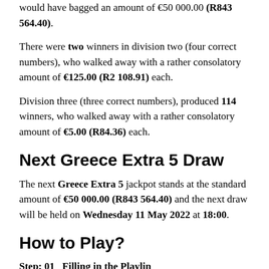would have bagged an amount of €50 000.00 (R843 564.40).
There were two winners in division two (four correct numbers), who walked away with a rather consolatory amount of €125.00 (R2 108.91) each.
Division three (three correct numbers), produced 114 winners, who walked away with a rather consolatory amount of €5.00 (R84.36) each.
Next Greece Extra 5 Draw
The next Greece Extra 5 jackpot stands at the standard amount of €50 000.00 (R843 564.40) and the next draw will be held on Wednesday 11 May 2022 at 18:00.
How to Play?
Step: 01   Filling in the Playlin